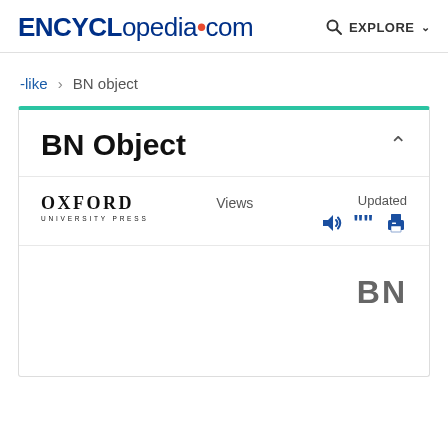ENCYCLopedia.com  EXPLORE
-like > BN object
BN Object
[Figure (logo): Oxford University Press logo with text OXFORD UNIVERSITY PRESS]
Views  Updated
BN